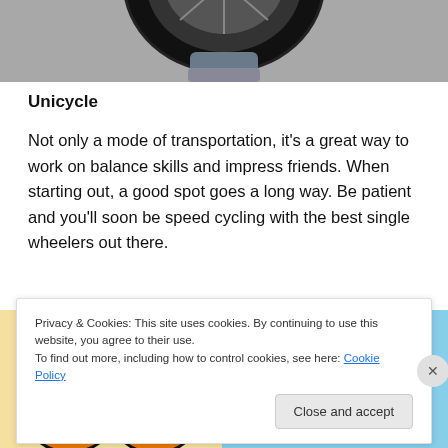[Figure (photo): Partial view of a unicycle wheel on asphalt, with a person's shoe/foot visible]
Unicycle
Not only a mode of transportation, it's a great way to work on balance skills and impress friends. When starting out, a good spot goes a long way. Be patient and you'll soon be speed cycling with the best single wheelers out there.
[Figure (photo): Orange pedalo/ride-on toy wheels with 'pedalo' branding]
[Figure (photo): Child riding a unicycle outdoors against blue sky, with a yellow ball visible]
Privacy & Cookies: This site uses cookies. By continuing to use this website, you agree to their use.
To find out more, including how to control cookies, see here: Cookie Policy